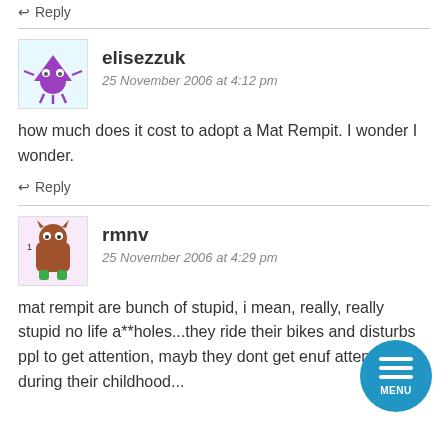↩ Reply
elisezzuk
25 November 2006 at 4:12 pm
how much does it cost to adopt a Mat Rempit. I wonder I wonder.
↩ Reply
rmnv
25 November 2006 at 4:29 pm
mat rempit are bunch of stupid, i mean, really, really stupid no life a**holes...they ride their bikes and disturbs ppl to get attention, mayb they dont get enuf attention during their childhood...